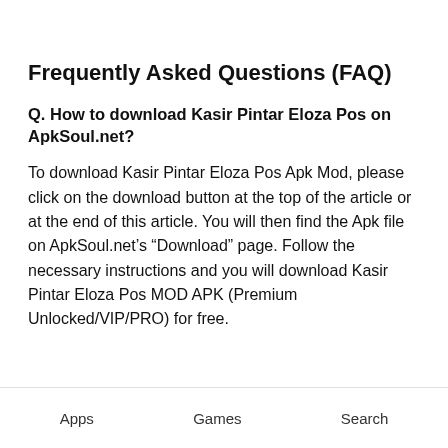Frequently Asked Questions (FAQ)
Q. How to download Kasir Pintar Eloza Pos on ApkSoul.net?
To download Kasir Pintar Eloza Pos Apk Mod, please click on the download button at the top of the article or at the end of this article. You will then find the Apk file on ApkSoul.net’s “Download” page. Follow the necessary instructions and you will download Kasir Pintar Eloza Pos MOD APK (Premium Unlocked/VIP/PRO) for free.
Apps   Games   Search